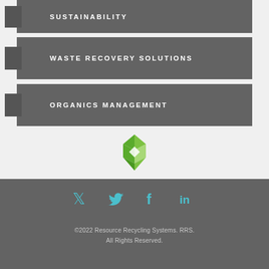SUSTAINABILITY
WASTE RECOVERY SOLUTIONS
ORGANICS MANAGEMENT
[Figure (logo): RRS green diamond/gem logo mark]
[Figure (infographic): Social media icons: Twitter, Facebook, LinkedIn in teal/cyan color]
©2022 Resource Recycling Systems. RRS. All Rights Reserved.